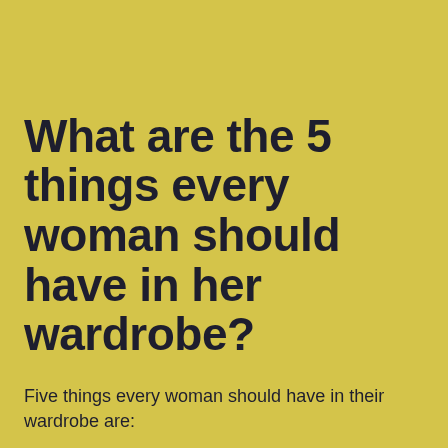What are the 5 things every woman should have in her wardrobe?
Five things every woman should have in their wardrobe are: